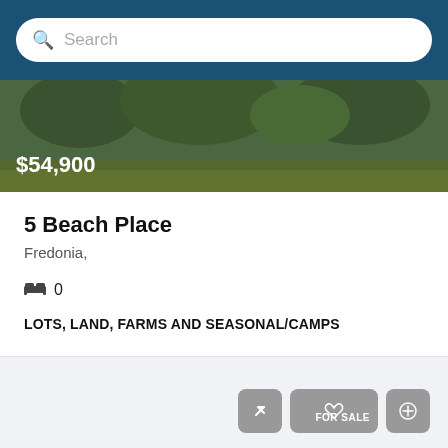Search
[Figure (photo): Aerial or landscape photo of green vegetation/land with price overlay $54,900]
5 Beach Place
Fredonia,
0 bedrooms
LOTS, LAND, FARMS AND SEASONAL/CAMPS
Michael McVinney
1 year ago